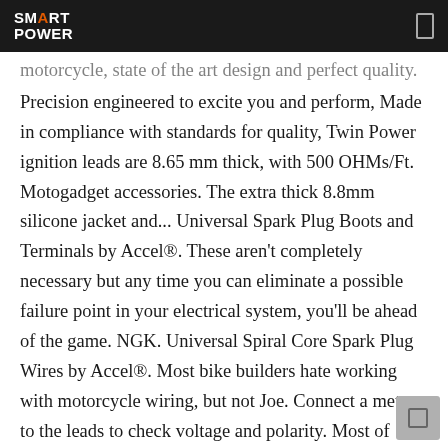SMART POWER
motorcycle, state of the art design and perfect quality. Precision engineered to excite you and perform, Made in compliance with standards for quality, Twin Power ignition leads are 8.65 mm thick, with 500 OHMs/Ft. Motogadget accessories. The extra thick 8.8mm silicone jacket and... Universal Spark Plug Boots and Terminals by Accel®. These aren't completely necessary but any time you can eliminate a possible failure point in your electrical system, you'll be ahead of the game. NGK. Universal Spiral Core Spark Plug Wires by Accel®. Most bike builders hate working with motorcycle wiring, but not Joe. Connect a meter to the leads to check voltage and polarity. Most of these relate to making sure that you match up the plug with your vehicle. Dark brown or Black Spark Plug: Too rich; Black, oily Spark Plug: Oil fouled (see valves or piston rings.) We have a wide